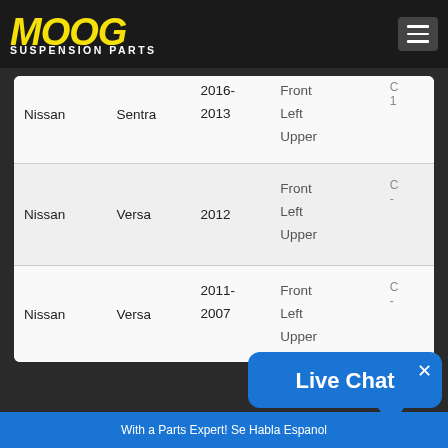[Figure (logo): MOOG Suspension Parts logo in yellow italic text on dark background]
| Make | Model | Year | Position | Part |
| --- | --- | --- | --- | --- |
| Nissan | Sentra | 2016-2013 | Front Left Upper |  |
| Nissan | Versa | 2012 | Front Left Upper |  |
| Nissan | Versa | 2011-2007 | Front Left Upper |  |
Live Chat
With a Parts Expert! Se Habla Espanol